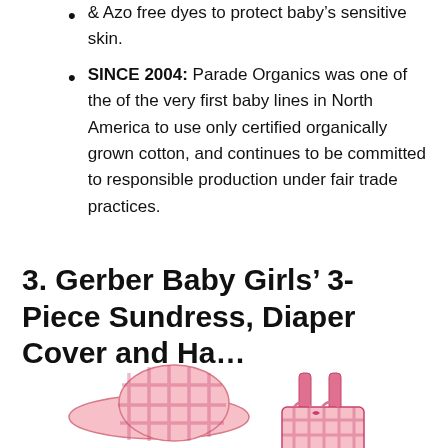& Azo free dyes to protect baby's sensitive skin.
SINCE 2004: Parade Organics was one of the of the very first baby lines in North America to use only certified organically grown cotton, and continues to be committed to responsible production under fair trade practices.
3. Gerber Baby Girls' 3-Piece Sundress, Diaper Cover and Ha...
[Figure (photo): Photo of a pink gingham baby sundress set including a wide-brim sun hat and a sundress with ruffled straps.]